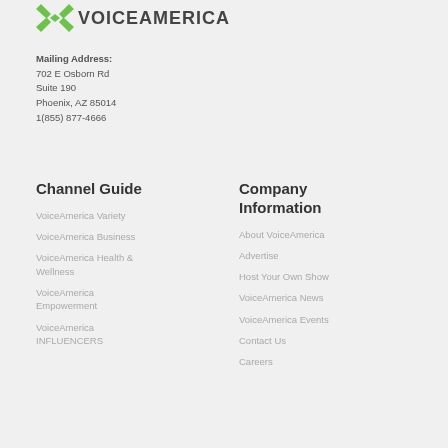[Figure (logo): VoiceAmerica logo with green chevron/V-shape icon and bold dark text VOICEAMERICA]
Mailing Address:
702 E Osborn Rd
Suite 190
Phoenix, AZ 85014
1(855) 877-4666
Channel Guide
VoiceAmerica Variety
VoiceAmerica Business
VoiceAmerica Health & Wellness
VoiceAmerica Empowerment
VoiceAmerica INFLUENCERS
Company Information
About VoiceAmerica
Advertise
Host Your Own Show
VoiceAmerica News
VoiceAmerica Events
Contact Us
Careers